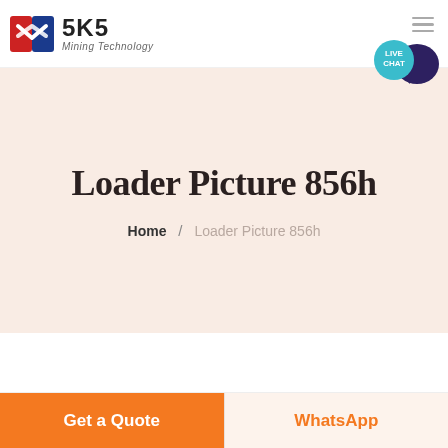[Figure (logo): SKS Mining Technology logo with red/blue shield icon and brand name]
Loader Picture 856h
Home / Loader Picture 856h
[Figure (photo): Partial view of a loader machine (yellow/black) visible at bottom of content area]
Get a Quote
WhatsApp